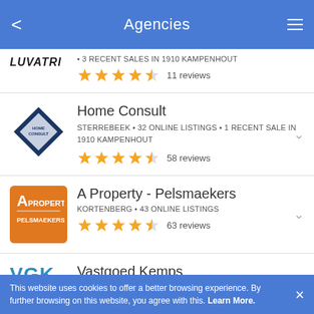Agencies
LUVATRI • 3 RECENT SALES IN 1910 KAMPENHOUT — 11 reviews
Home Consult — STERREBEEK • 32 ONLINE LISTINGS • 1 RECENT SALE IN 1910 KAMPENHOUT — 58 reviews
A Property - Pelsmaekers — KORTENBERG • 43 ONLINE LISTINGS — 63 reviews
Vastgoed Kemps
This website uses cookies to offer a better browsing experience. By further browsing on this website, you agree with this. Learn More.